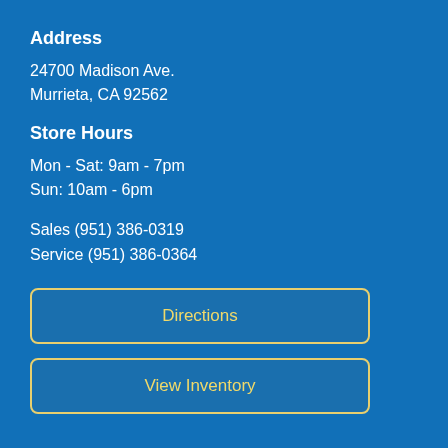Address
24700 Madison Ave.
Murrieta, CA 92562
Store Hours
Mon - Sat: 9am - 7pm
Sun: 10am - 6pm
Sales (951) 386-0319
Service (951) 386-0364
Directions
View Inventory
[Figure (infographic): Social media icons: Facebook, Instagram, YouTube]
Email Subscribe